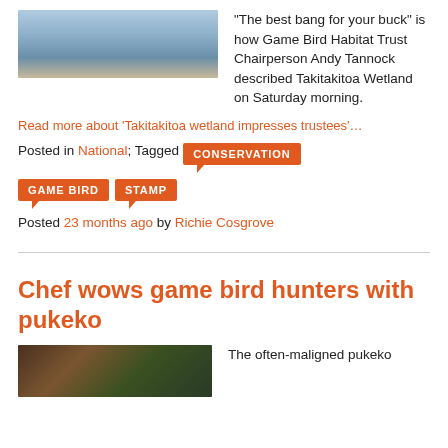[Figure (photo): Outdoor sky/clouds landscape photo]
“The best bang for your buck” is how Game Bird Habitat Trust Chairperson Andy Tannock described Takitakitoa Wetland on Saturday morning.
Read more about ‘Takitakitoa wetland impresses trustees’…
Posted in National; Tagged CONSERVATION
GAME BIRD  STAMP  Posted 23 months ago by Richie Cosgrove
Chef wows game bird hunters with pukeko
[Figure (photo): Close-up wildlife/bird photo]
The often-maligned pukeko